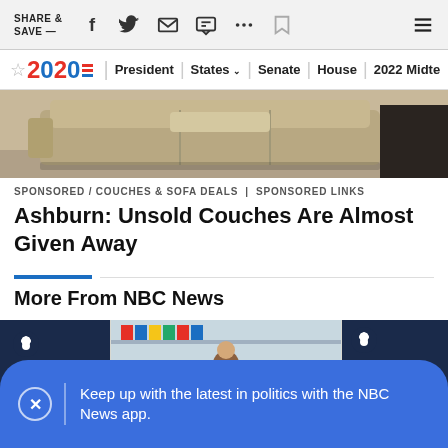SHARE & SAVE —
[Figure (screenshot): NBC News 2020 navigation bar with President, States, Senate, House, 2022 Midterm links]
[Figure (photo): Photo of beige sectional couch/sofa]
SPONSORED / COUCHES & SOFA DEALS | SPONSORED LINKS
Ashburn: Unsold Couches Are Almost Given Away
More From NBC News
[Figure (photo): NBC News thumbnail images showing store shelves and another NBC branded image]
Keep up with the latest in politics with the NBC News app.